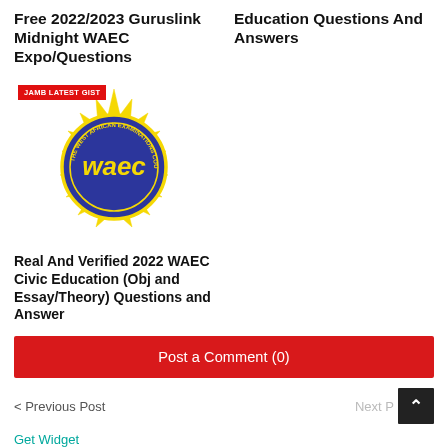Free 2022/2023 Guruslink Midnight WAEC Expo/Questions
Education Questions And Answers
[Figure (logo): WAEC (West African Examinations Council) logo — a blue and yellow starburst emblem with 'waec' text in the center, overlaid with a red 'JAMB LATEST GIST' badge in the top-left corner]
Real And Verified 2022 WAEC Civic Education (Obj and Essay/Theory) Questions and Answer
Post a Comment (0)
< Previous Post
Next P…
Get Widget